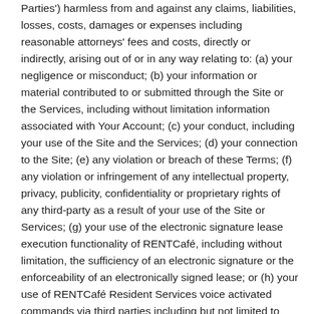Parties') harmless from and against any claims, liabilities, losses, costs, damages or expenses including reasonable attorneys' fees and costs, directly or indirectly, arising out of or in any way relating to: (a) your negligence or misconduct; (b) your information or material contributed to or submitted through the Site or the Services, including without limitation information associated with Your Account; (c) your conduct, including your use of the Site and the Services; (d) your connection to the Site; (e) any violation or breach of these Terms; (f) any violation or infringement of any intellectual property, privacy, publicity, confidentiality or proprietary rights of any third-party as a result of your use of the Site or Services; (g) your use of the electronic signature lease execution functionality of RENTCafé, including without limitation, the sufficiency of an electronic signature or the enforceability of an electronically signed lease; or (h) your use of RENTCafé Resident Services voice activated commands via third parties including but not limited to Amazon Alexa and